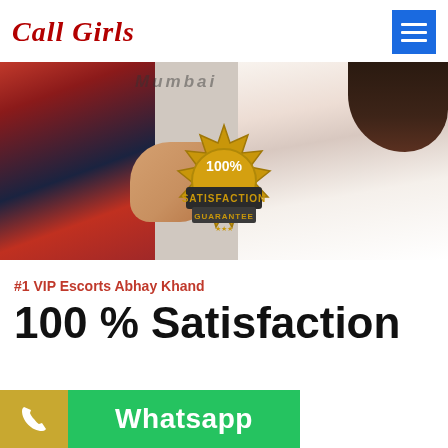Call Girls
[Figure (photo): Banner image showing two women — one in a red plaid shirt on the left, one in a white top on the right — with a gold '100% Satisfaction Guarantee' badge in the center]
#1 VIP Escorts Abhay Khand
100 % Satisfaction
[Figure (infographic): CTA bar with gold phone icon button on left and green Whatsapp button on right]